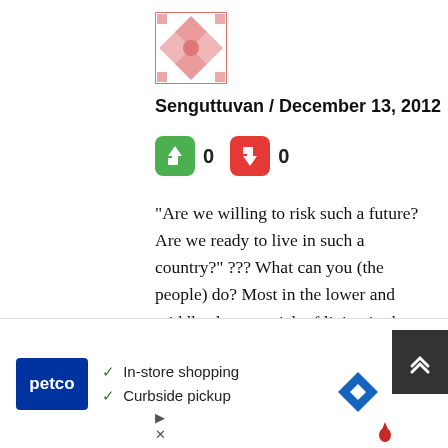[Figure (illustration): Decorative avatar/icon with pink diamond pattern on white background]
Senguttuvan / December 13, 2012
[Figure (infographic): Vote buttons: green thumbs up with count 0, red thumbs down with count 0]
“Are we willing to risk such a future? Are we ready to live in such a country?” ??? What can you (the people) do? Most in the lower and middle class are sick of living in the country in the conditions obtaining. But what is their alternative. It costs over Rs.4 million per person to get into a modern Kallathoni (the human traffic racket said to be controlled
[Figure (screenshot): Ad overlay: Petco advertisement showing In-store shopping and Curbside pickup options with a navigation arrow icon and close button]